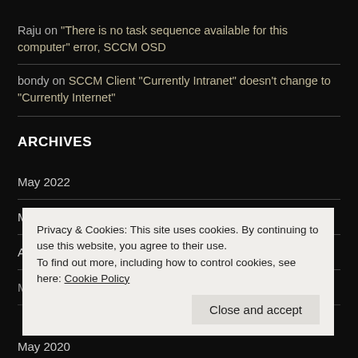Raju on “There is no task sequence available for this computer” error, SCCM OSD
bondy on SCCM Client “Currently Intranet” doesn’t change to “Currently Internet”
ARCHIVES
May 2022
March 2022
April 2021
May 2020
Privacy & Cookies: This site uses cookies. By continuing to use this website, you agree to their use.
To find out more, including how to control cookies, see here: Cookie Policy
Close and accept